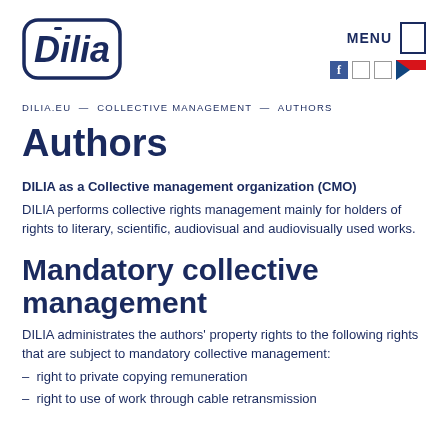[Figure (logo): Dilia logo — stylized text 'Dilia' with a letter 'i' with a bar on top, inside a rounded rectangle border, dark navy blue]
[Figure (infographic): MENU text with hamburger menu icon, Facebook icon, two small social icons, and Czech flag]
DILIA.EU — COLLECTIVE MANAGEMENT — AUTHORS
Authors
DILIA as a Collective management organization (CMO)
DILIA performs collective rights management mainly for holders of rights to literary, scientific, audiovisual and audiovisually used works.
Mandatory collective management
DILIA administrates the authors' property rights to the following rights that are subject to mandatory collective management:
– right to private copying remuneration
– right to use of work through cable retransmission